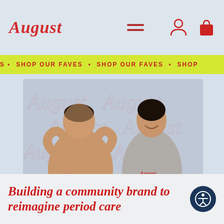August
SHOP OUR FAVES • SHOP OUR FAVES • SHOP OUR FAVES •
[Figure (photo): Two young people wearing August-branded hoodies standing in front of a light background with August logo watermarks. One person on the left wears a tan/beige hoodie and appears to be in a wheelchair, making a heart shape with their hands. The person on the right wears a grey hoodie with the August logo.]
Building a community brand to reimagine period care